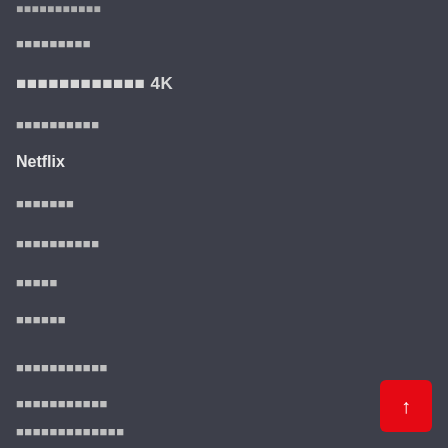▪▪▪▪▪▪▪▪▪▪▪
▪▪▪▪▪▪▪▪▪
▪▪▪▪▪▪▪▪▪▪▪▪ 4K
▪▪▪▪▪▪▪▪▪▪
Netflix
▪▪▪▪▪▪▪
▪▪▪▪▪▪▪▪▪▪
▪▪▪▪▪
▪▪▪▪▪▪
▪▪▪▪▪▪▪▪▪▪▪
▪▪▪▪▪▪▪▪▪▪▪
▪▪▪▪▪▪▪▪▪▪▪▪▪